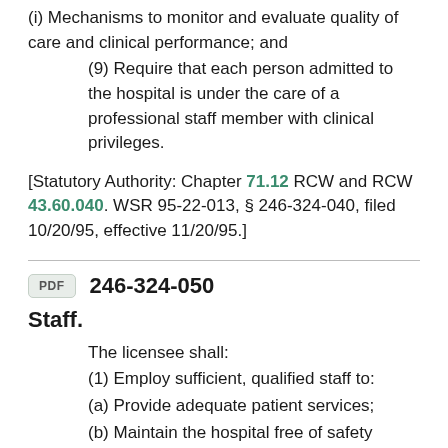(i) Mechanisms to monitor and evaluate quality of care and clinical performance; and
(9) Require that each person admitted to the hospital is under the care of a professional staff member with clinical privileges.
[Statutory Authority: Chapter 71.12 RCW and RCW 43.60.040. WSR 95-22-013, § 246-324-040, filed 10/20/95, effective 11/20/95.]
246-324-050
Staff.
The licensee shall:
(1) Employ sufficient, qualified staff to:
(a) Provide adequate patient services;
(b) Maintain the hospital free of safety hazards; and
(c) Implement fire and disaster plans.